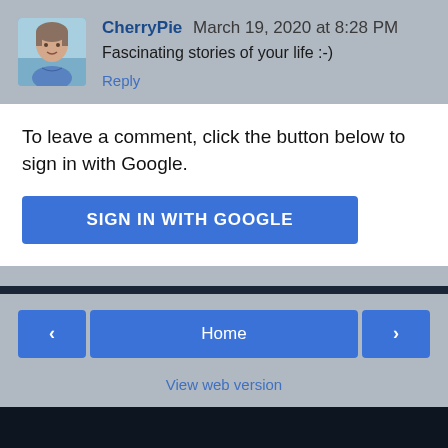CherryPie  March 19, 2020 at 8:28 PM
Fascinating stories of your life :-)
Reply
To leave a comment, click the button below to sign in with Google.
SIGN IN WITH GOOGLE
Home
View web version